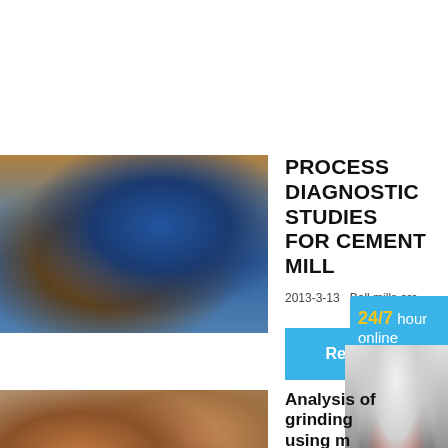[Figure (photo): Industrial cement mill facility with blue machinery, pipes and silos]
PROCESS DIAGNOSTIC STUDIES FOR CEMENT MILL
2013-3-13   Ball mills are ...
Read
[Figure (photo): Cone crusher machine in blue color shown in overlay ad panel with 24/7 hour online text]
24/7 hour online
Click me to chat>>
Enquiry
limingjlmofen
[Figure (photo): Heavy construction machinery / crusher on rocky ground outdoor]
Analysis of grinding using m
2014-3-1 ...